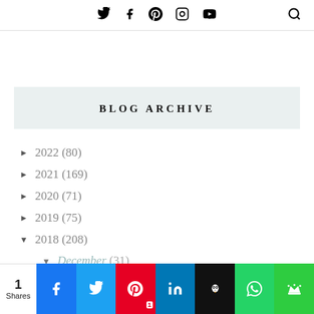Twitter Facebook Pinterest Instagram YouTube [search]
BLOG ARCHIVE
► 2022 (80)
► 2021 (169)
► 2020 (71)
► 2019 (75)
▼ 2018 (208)
▼ December (31)
1 Shares | Facebook Twitter Pinterest LinkedIn Buffer WhatsApp Crown